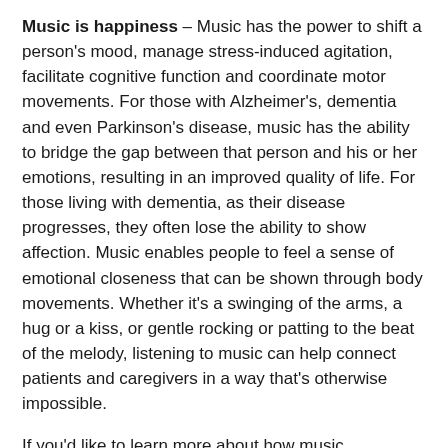Music is happiness – Music has the power to shift a person's mood, manage stress-induced agitation, facilitate cognitive function and coordinate motor movements. For those with Alzheimer's, dementia and even Parkinson's disease, music has the ability to bridge the gap between that person and his or her emotions, resulting in an improved quality of life. For those living with dementia, as their disease progresses, they often lose the ability to show affection. Music enables people to feel a sense of emotional closeness that can be shown through body movements. Whether it's a swinging of the arms, a hug or a kiss, or gentle rocking or patting to the beat of the melody, listening to music can help connect patients and caregivers in a way that's otherwise impossible.
If you'd like to learn more about how music therapy can help with memory function, contact your loved one's primary care physician.